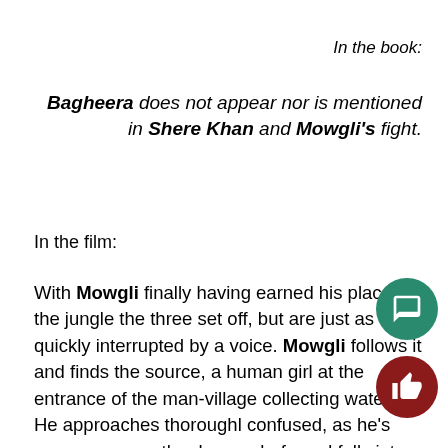In the book:
Bagheera does not appear nor is mentioned in Shere Khan and Mowgli's fight.
In the film:
With Mowgli finally having earned his place in the jungle the three set off, but are just as quickly interrupted by a voice. Mowgli follows it and finds the source, a human girl at the entrance of the man-village collecting water. He approaches thoroughly confused, as he's never seen another human before, and falls into the water she's been collecting from; the girl merely laughs and stands up, heading towards the village. However she drops the jug, which empties